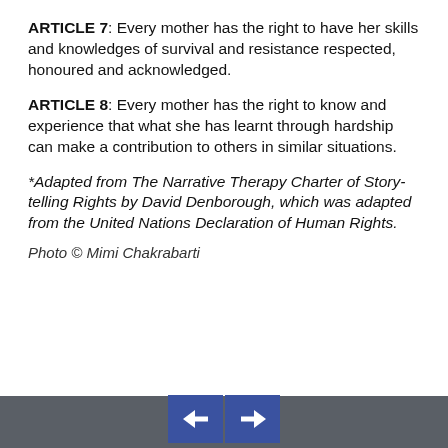ARTICLE 7: Every mother has the right to have her skills and knowledges of survival and resistance respected, honoured and acknowledged.
ARTICLE 8: Every mother has the right to know and experience that what she has learnt through hardship can make a contribution to others in similar situations.
*Adapted from The Narrative Therapy Charter of Story-telling Rights by David Denborough, which was adapted from the United Nations Declaration of Human Rights.
Photo © Mimi Chakrabarti
[Figure (other): Navigation buttons: left arrow and right arrow on dark blue square backgrounds, on a grey footer bar]